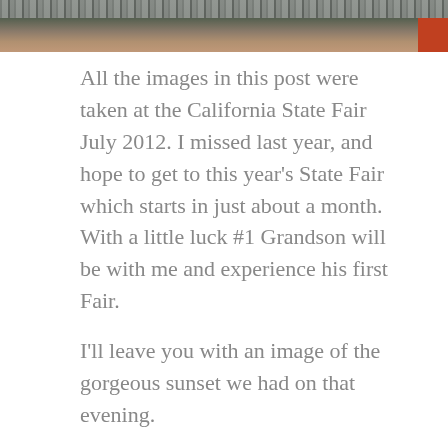[Figure (photo): Partial photo at top of page showing what appears to be fairground fencing/structures with an orange element visible on the right side]
All the images in this post were taken at the California State Fair July 2012. I missed last year, and hope to get to this year's State Fair which starts in just about a month. With a little luck #1 Grandson will be with me and experience his first Fair.
I'll leave you with an image of the gorgeous sunset we had on that evening.
[Figure (photo): Photo of a gorgeous sunset with pink and orange clouds against a blue sky, with a dark silhouetted horizon at the bottom]